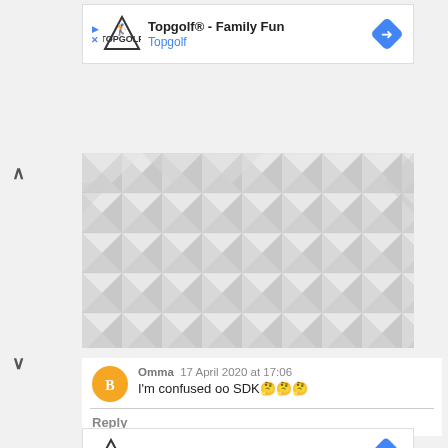[Figure (other): Topgolf advertisement banner with logo, title 'Topgolf® - Family Fun', subtitle 'Topgolf', play/close icons on left, blue diamond arrow icon on right]
[Figure (illustration): Geometric low-poly triangular pattern in shades of light gray and white]
Omma 17 April 2020 at 17:06
I'm confused oo SDK🤔🤔🤔
Reply
[Figure (other): Topgolf bottom advertisement with logo, checkmark Dine-in, X Delivery, blue diamond arrow icon, play and close icons]